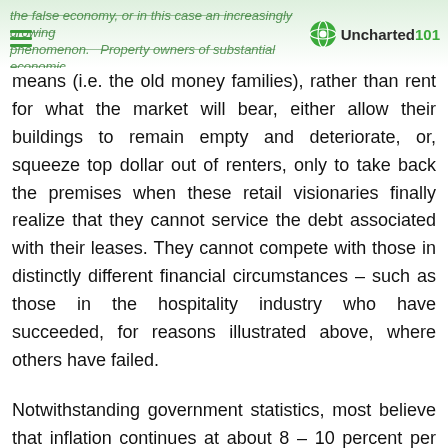the false economy, or in this case an increasingly growing phenomenon. Property owners of substantial economic means — Uncharted101
means (i.e. the old money families), rather than rent for what the market will bear, either allow their buildings to remain empty and deteriorate, or, squeeze top dollar out of renters, only to take back the premises when these retail visionaries finally realize that they cannot service the debt associated with their leases. They cannot compete with those in distinctly different financial circumstances – such as those in the hospitality industry who have succeeded, for reasons illustrated above, where others have failed.
Notwithstanding government statistics, most believe that inflation continues at about 8 – 10 percent per annum. The cost of goods required to support the hospitality industry will continue to climb, and eventually wages will have to creep up in order for Oaxacan residents to survive. This will put a